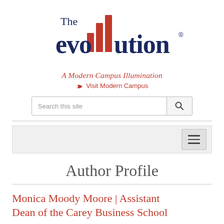[Figure (logo): The EvoLLLution logo with bar chart graphic in red/orange and dark navy text, tagline 'A Modern Campus Illumination' in red italic serif, with 'Visit Modern Campus' link in red below]
Search this site
Author Profile
Monica Moody Moore | Assistant Dean of the Carey Business School